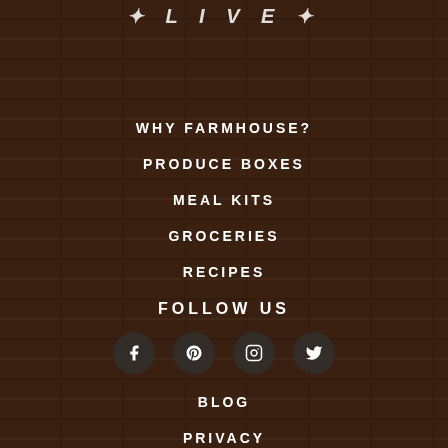[Figure (logo): Partial circular logo text reading LIVE on dark wood background]
WHY FARMHOUSE?
PRODUCE BOXES
MEAL KITS
GROCERIES
RECIPES
FOLLOW US
[Figure (illustration): Four social media icons in dark circles: Facebook, Pinterest, Instagram, Twitter]
BLOG
PRIVACY
T&C